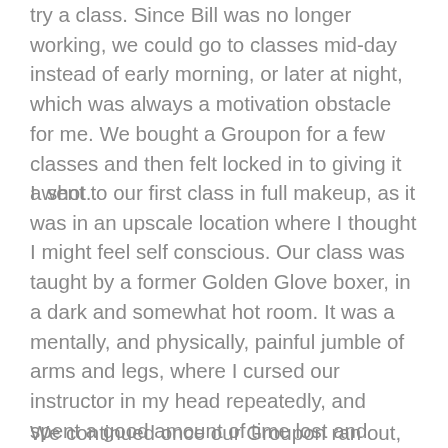try a class. Since Bill was no longer working, we could go to classes mid-day instead of early morning, or later at night, which was always a motivation obstacle for me. We bought a Groupon for a few classes and then felt locked in to giving it a shot.
I went to our first class in full makeup, as it was in an upscale location where I thought I might feel self conscious. Our class was taught by a former Golden Glove boxer, in a dark and somewhat hot room. It was a mentally, and physically, painful jumble of arms and legs, where I cursed our instructor in my head repeatedly, and spent a good amount of time lost and reverting to child's pose. We left absolutely soaked from head to toe. Makeup streaming down my face. Hair soaking wet. Defeated. Stinky. Sore. Exhausted. Surprised. Invigorated.
We continued once our Groupon ran out, and have spent the last seven months going three to four times a week.